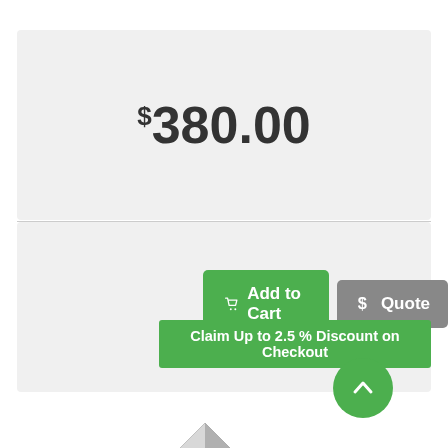$380.00
Add to Cart
Quote
Claim Up to 2.5 % Discount on Checkout
[Figure (illustration): Product image partially visible at bottom of page]